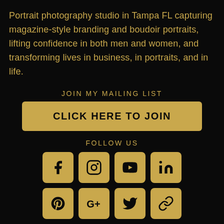Portrait photography studio in Tampa FL capturing magazine-style branding and boudoir portraits, lifting confidence in both men and women, and transforming lives in business, in portraits, and in life.
JOIN MY MAILING LIST
CLICK HERE TO JOIN
FOLLOW US
[Figure (infographic): 8 social media icons in a 4x2 grid: Facebook, Instagram, YouTube, LinkedIn (top row); Pinterest, Google+, Twitter, Link/chain (bottom row). All icons are gold/tan colored rounded squares with black symbols.]
FOOTER MENU